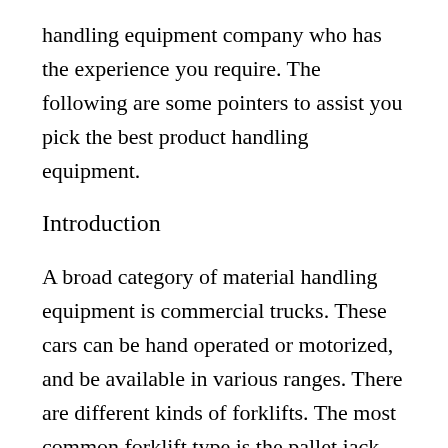handling equipment company who has the experience you require. The following are some pointers to assist you pick the best product handling equipment.
Introduction
A broad category of material handling equipment is commercial trucks. These cars can be hand operated or motorized, and be available in various ranges. There are different kinds of forklifts. The most common forklift type is the pallet jack, which can be found in various ranges and features an integrated system. Other typical